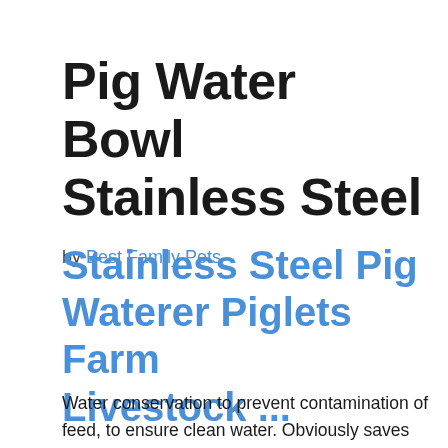Pig Water Bowl Stainless Steel
by Best Family Pets
Stainless Steel Pig Waterer Piglets Farm Livestock ...
Water conservation to prevent contamination of feed, to ensure clean water. Obviously saves water and reduces sewage discharge